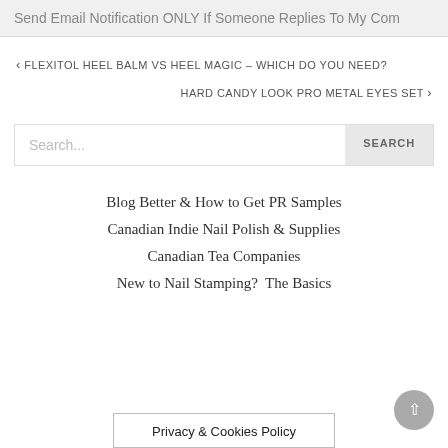Send Email Notification ONLY If Someone Replies To My Com
‹ FLEXITOL HEEL BALM VS HEEL MAGIC – WHICH DO YOU NEED?
HARD CANDY LOOK PRO METAL EYES SET ›
Search...
Blog Better & How to Get PR Samples
Canadian Indie Nail Polish & Supplies
Canadian Tea Companies
New to Nail Stamping?  The Basics
Privacy & Cookies Policy